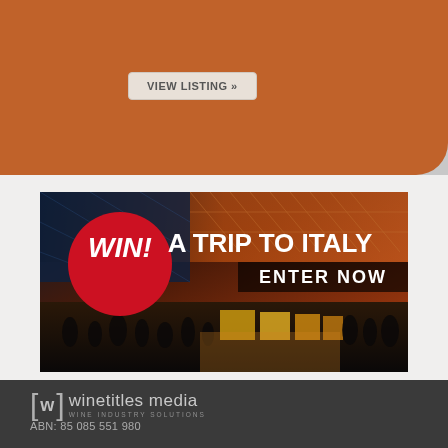VIEW LISTING »
[Figure (photo): Advertisement banner: 'WIN! A TRIP TO ITALY – ENTER NOW' over a photo of an illuminated event venue/exhibition hall with orange lighting and crowds]
[Figure (logo): Winetitles Media – Wine Industry Solutions logo with bracket-W symbol]
ABN: 85 085 551 980